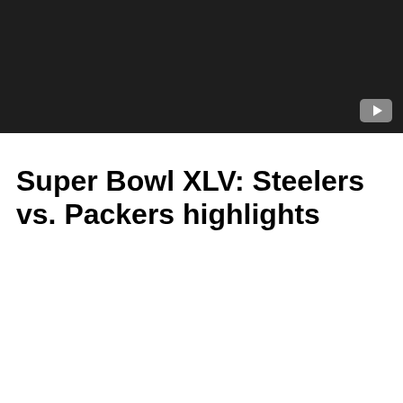[Figure (screenshot): Dark video player thumbnail with YouTube play button icon in bottom-right corner]
Super Bowl XLV: Steelers vs. Packers highlights
[Figure (screenshot): Dark video player showing unavailable video with message 'Video unavailable' and 'This video contains content from NFL who has blocked']